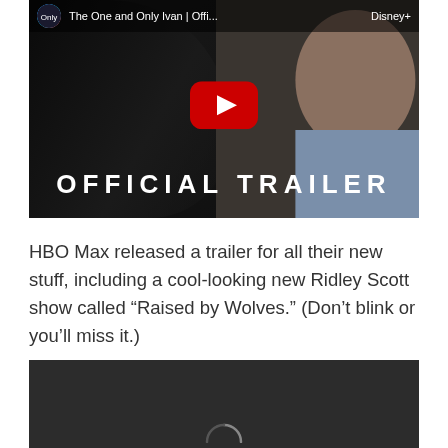[Figure (screenshot): YouTube video thumbnail for 'The One and Only Ivan | Official Disney+' trailer, showing a gorilla and a man face-to-face with a red YouTube play button overlay and white text reading 'OFFICIAL TRAILER' at the bottom.]
HBO Max released a trailer for all their new stuff, including a cool-looking new Ridley Scott show called “Raised by Wolves.” (Don’t blink or you’ll miss it.)
[Figure (screenshot): A partially visible dark video thumbnail with a loading spinner at the bottom.]